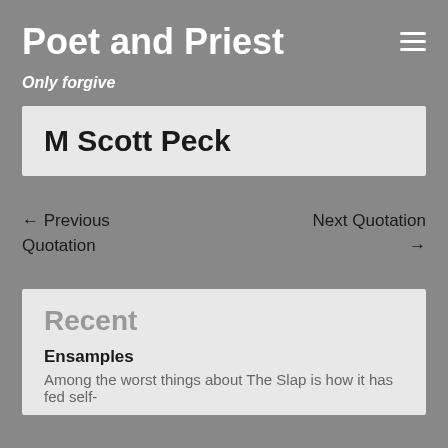Poet and Priest
Only forgive
M Scott Peck
← Previous Quotation
Next Quotation →
Recent
Ensamples
Among the worst things about The Slap is how it has fed self-